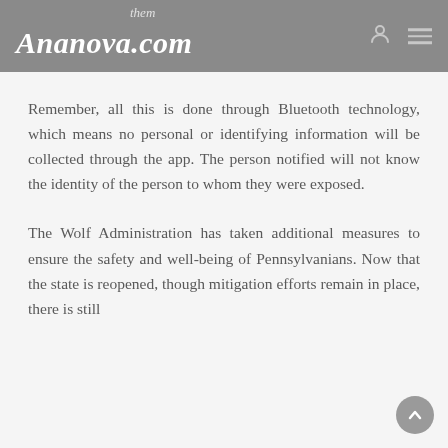them
Ananova.com
Remember, all this is done through Bluetooth technology, which means no personal or identifying information will be collected through the app. The person notified will not know the identity of the person to whom they were exposed.
The Wolf Administration has taken additional measures to ensure the safety and well-being of Pennsylvanians. Now that the state is reopened, though mitigation efforts remain in place, there is still